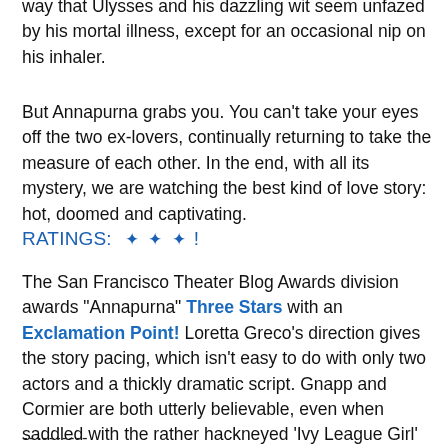way that Ulysses and his dazzling wit seem unfazed by his mortal illness, except for an occasional nip on his inhaler.
But Annapurna grabs you. You can't take your eyes off the two ex-lovers, continually returning to take the measure of each other. In the end, with all its mystery, we are watching the best kind of love story: hot, doomed and captivating.
RATINGS: ✦ ✦ ✦ !
The San Francisco Theater Blog Awards division awards "Annapurna" Three Stars with an Exclamation Point! Loretta Greco's direction gives the story pacing, which isn't easy to do with only two actors and a thickly dramatic script. Gnapp and Cormier are both utterly believable, even when saddled with the rather hackneyed 'Ivy League Girl' and 'Cowboy Poet' roles. The exclamation point is a thank you to Andrew Boyce for his intriguing (but hard to clean up) set and to Jake Rodriguez for music that keeps us on edge. This is a World Premiere. The show will only get better.
----------